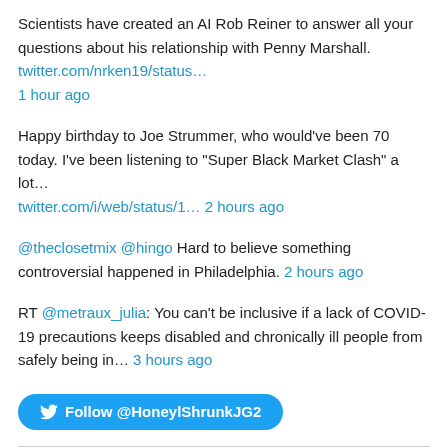Scientists have created an AI Rob Reiner to answer all your questions about his relationship with Penny Marshall. twitter.com/nrken19/status… 1 hour ago
Happy birthday to Joe Strummer, who would've been 70 today. I've been listening to "Super Black Market Clash" a lot… twitter.com/i/web/status/1… 2 hours ago
@theclosetmix @hingo Hard to believe something controversial happened in Philadelphia. 2 hours ago
RT @metraux_julia: You can't be inclusive if a lack of COVID-19 precautions keeps disabled and chronically ill people from safely being in… 3 hours ago
[Figure (other): Follow @HoneylShrunkJG2 button — a blue rounded Twitter follow button with bird icon]
Subscribe
Enter your e-mail address and receive a big chunk of spam the second I